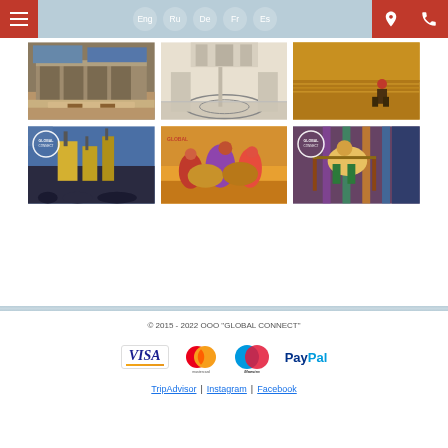Eng | Ru | De | Fr | Es
[Figure (photo): Gallery of 6 photographs/paintings in a 2x3 grid showing: museum building exterior, museum interior with circular floor pattern, painting of person in field, painting of industrial scene with figures, painting of camel caravan with colorful figures, painting of carpet weavers]
© 2015 - 2022 OOO "GLOBAL CONNECT" | TripAdvisor | Instagram | Facebook